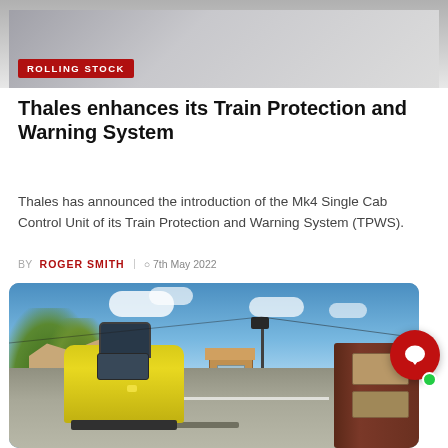[Figure (photo): Partial photo of a train or railway equipment with a red 'ROLLING STOCK' category badge overlay at the bottom left]
Thales enhances its Train Protection and Warning System
Thales has announced the introduction of the Mk4 Single Cab Control Unit of its Train Protection and Warning System (TPWS).
BY ROGER SMITH  7th May 2022
[Figure (photo): Photograph of a yellow diesel locomotive at a heritage railway station platform, with a brown carriage visible on the right, a signal box and signal post in the background, under a partly cloudy blue sky]